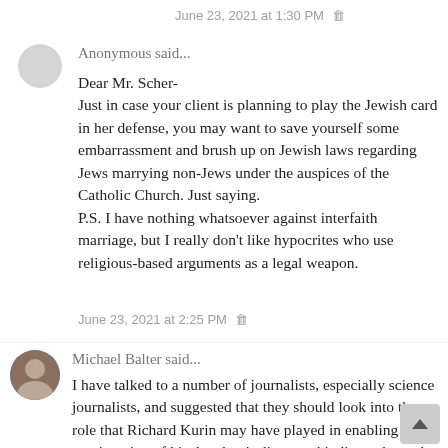June 23, 2021 at 1:30 PM 🗑
Anonymous said...
Dear Mr. Scher-
Just in case your client is planning to play the Jewish card in her defense, you may want to save yourself some embarrassment and brush up on Jewish laws regarding Jews marrying non-Jews under the auspices of the Catholic Church. Just saying.
P.S. I have nothing whatsoever against interfaith marriage, but I really don't like hypocrites who use religious-based arguments as a legal weapon.
June 23, 2021 at 2:25 PM 🗑
Michael Balter said...
I have talked to a number of journalists, especially science journalists, and suggested that they should look into the role that Richard Kurin may have played in enabling the continuation of his daughter's direct and indirect abuses by helping her not only to escape the consequences for them, but also